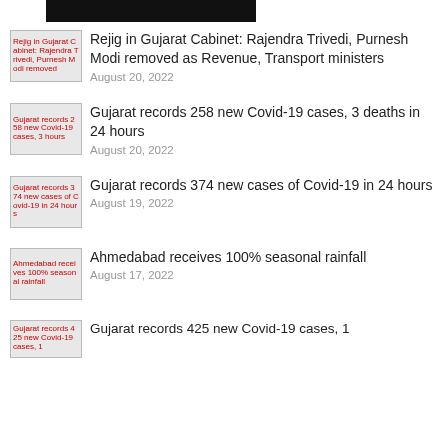Rejig in Gujarat Cabinet: Rajendra Trivedi, Purnesh Modi removed as Revenue, Transport ministers — August 20, 2022
Gujarat records 258 new Covid-19 cases, 3 deaths in 24 hours — August 20, 2022
Gujarat records 374 new cases of Covid-19 in 24 hours — August 19, 2022
Ahmedabad receives 100% seasonal rainfall — August 17, 2022
Gujarat records 425 new Covid-19 cases, 1 — (truncated)